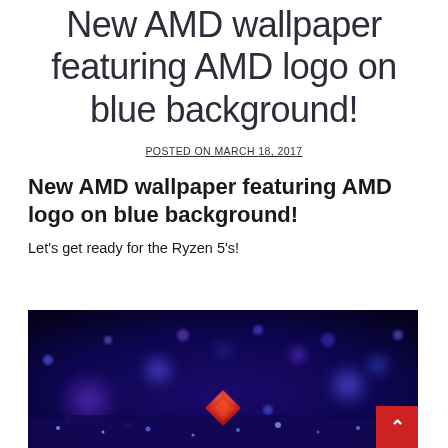New AMD wallpaper featuring AMD logo on blue background!
POSTED ON MARCH 18, 2017
New AMD wallpaper featuring AMD logo on blue background!
Let's get ready for the Ryzen 5's!
[Figure (photo): AMD wallpaper showing glowing blue bokeh lights with the AMD Ryzen logo (red diamond shape) in the center foreground on a deep blue background]